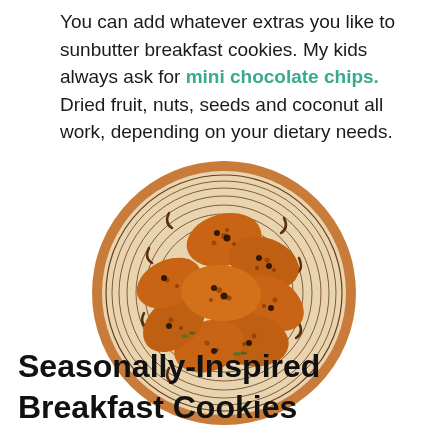You can add whatever extras you like to sunbutter breakfast cookies. My kids always ask for mini chocolate chips. Dried fruit, nuts, seeds and coconut all work, depending on your dietary needs.
[Figure (photo): Overhead view of a decorative plate/basket filled with oat-based breakfast cookies with dried fruit and chocolate chips, on a white background. Small apple logo icon in bottom-right corner.]
Seasonally-Inspired Breakfast Cookies